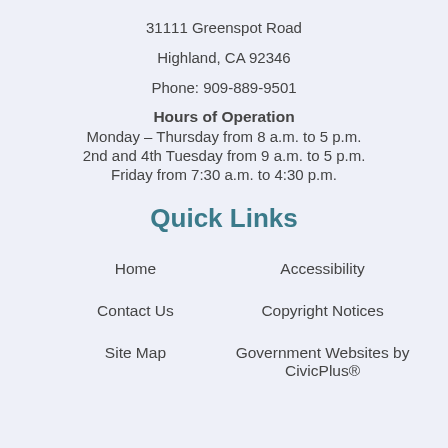31111 Greenspot Road
Highland, CA 92346
Phone: 909-889-9501
Hours of Operation
Monday – Thursday from 8 a.m. to 5 p.m.
2nd and 4th Tuesday from 9 a.m. to 5 p.m.
Friday from 7:30 a.m. to 4:30 p.m.
Quick Links
Home
Accessibility
Contact Us
Copyright Notices
Site Map
Government Websites by CivicPlus®